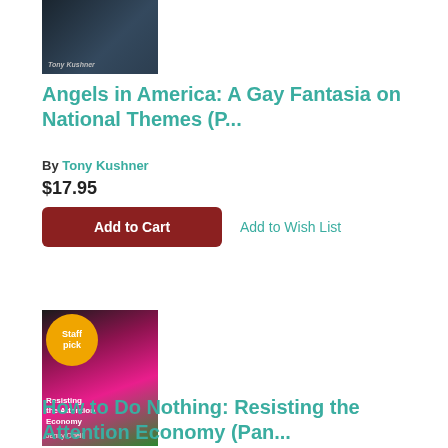[Figure (photo): Book cover for Angels in America by Tony Kushner, dark blue/grey cover]
Angels in America: A Gay Fantasia on National Themes (P...
By Tony Kushner
$17.95
Add to Cart
Add to Wish List
[Figure (photo): Book cover for How to Do Nothing: Resisting the Attention Economy by Jenny Odell, floral cover with Staff pick badge]
How to Do Nothing: Resisting the Attention Economy (Pan...